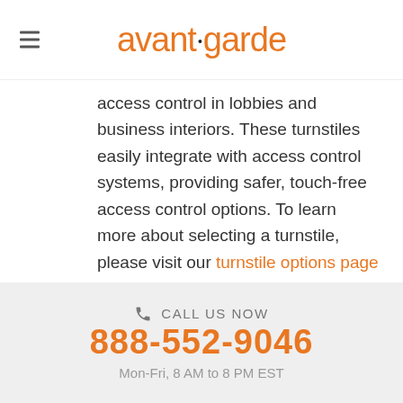avant garde
access control in lobbies and business interiors. These turnstiles easily integrate with access control systems, providing safer, touch-free access control options. To learn more about selecting a turnstile, please visit our turnstile options page or contact us today!
“We received first class service. Our optical turnstiles
CALL US NOW 888-552-9046 Mon-Fri, 8 AM to 8 PM EST